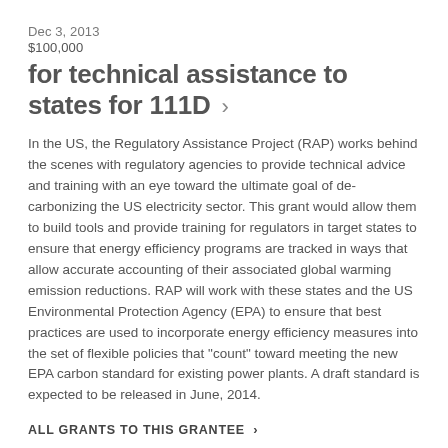Dec 3, 2013
$100,000
for technical assistance to states for 111D >
In the US, the Regulatory Assistance Project (RAP) works behind the scenes with regulatory agencies to provide technical advice and training with an eye toward the ultimate goal of de-carbonizing the US electricity sector. This grant would allow them to build tools and provide training for regulators in target states to ensure that energy efficiency programs are tracked in ways that allow accurate accounting of their associated global warming emission reductions. RAP will work with these states and the US Environmental Protection Agency (EPA) to ensure that best practices are used to incorporate energy efficiency measures into the set of flexible policies that "count" toward meeting the new EPA carbon standard for existing power plants. A draft standard is expected to be released in June, 2014.
ALL GRANTS TO THIS GRANTEE >
Feb 6, 2003
$75,000
for special assistance to the California Public Utilities Commission